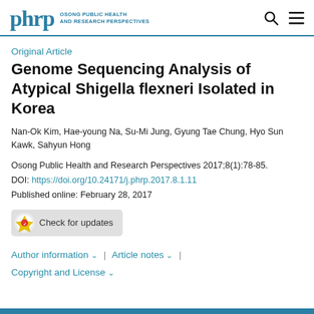phrp OSONG PUBLIC HEALTH AND RESEARCH PERSPECTIVES
Original Article
Genome Sequencing Analysis of Atypical Shigella flexneri Isolated in Korea
Nan-Ok Kim, Hae-young Na, Su-Mi Jung, Gyung Tae Chung, Hyo Sun Kawk, Sahyun Hong
Osong Public Health and Research Perspectives 2017;8(1):78-85.
DOI: https://doi.org/10.24171/j.phrp.2017.8.1.11
Published online: February 28, 2017
[Figure (other): Check for updates badge button]
Author information ∨ | Article notes ∨ | Copyright and License ∨